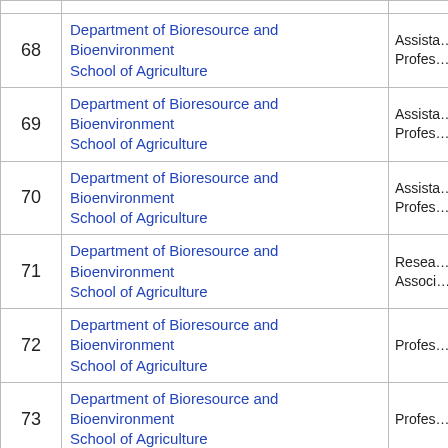| # | Department | Role |
| --- | --- | --- |
| 68 | Department of Bioresource and Bioenvironment School of Agriculture | Assistant Profes… |
| 69 | Department of Bioresource and Bioenvironment School of Agriculture | Assistant Profes… |
| 70 | Department of Bioresource and Bioenvironment School of Agriculture | Assistant Profes… |
| 71 | Department of Bioresource and Bioenvironment School of Agriculture | Research Associ… |
| 72 | Department of Bioresource and Bioenvironment School of Agriculture | Profes… |
| 73 | Department of Bioresource and Bioenvironment School of Agriculture | Profes… |
| 74 | Department of Bioresource and Bioenvironment School of Agriculture | Profes… |
| 75 | Department of Bioresource and Bioenvironment School of Agriculture | Profes… |